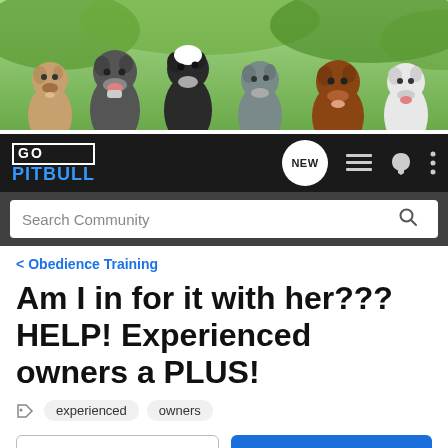[Figure (photo): Banner photo of six pitbull dogs sitting together in front of green foliage background]
[Figure (screenshot): GoPitbull forum navigation bar with logo, NEW badge, menu icons, search bar reading 'Search Community']
< Obedience Training
Am I in for it with her??? HELP! Experienced owners a PLUS!
experienced   owners
→ Jump to Latest   + Follow
1 - 12 of 12 Posts